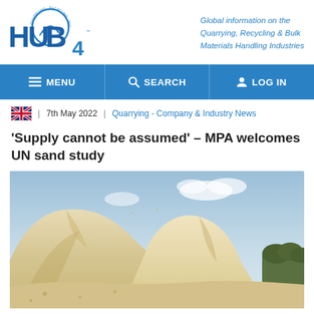HUB4 - Global information on the Quarrying, Recycling & Bulk Materials Handling Industries
MENU | SEARCH | LOG IN
7th May 2022 | Quarrying - Company & Industry News
'Supply cannot be assumed' – MPA welcomes UN sand study
[Figure (photo): Large pile of sand/aggregate material against a blue sky background, with multiple heaped mounds visible]